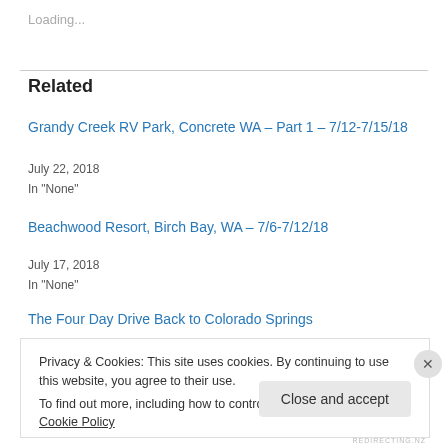Loading...
Related
Grandy Creek RV Park, Concrete WA – Part 1 – 7/12-7/15/18
July 22, 2018
In "None"
Beachwood Resort, Birch Bay, WA – 7/6-7/12/18
July 17, 2018
In "None"
The Four Day Drive Back to Colorado Springs
Privacy & Cookies: This site uses cookies. By continuing to use this website, you agree to their use.
To find out more, including how to control cookies, see here: Cookie Policy
Close and accept